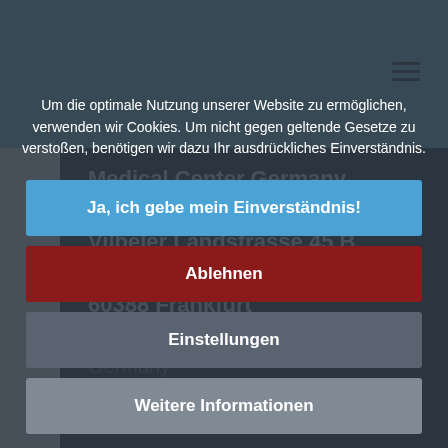Medical Center Germany
Vilbeler Landstrasse 45 B
60388 Frankfurt
Germany
Fax +49 ...
info@door...
Um die optimale Nutzung unserer Website zu ermöglichen, verwenden wir Cookies. Um nicht gegen geltende Gesetze zu verstoßen, benötigen wir dazu Ihr ausdrückliches Einverständnis.
Ja, ich gebe mein Einverständnis!
Ablehnen
Einstellungen
Weitere Informationen